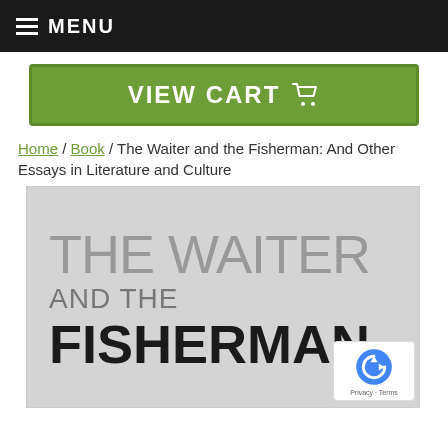MENU
VIEW CART
Home / Book / The Waiter and the Fisherman: And Other Essays in Literature and Culture
[Figure (illustration): Book cover image showing 'THE WAITER AND THE FISHERMAN' text on a light gray background in large typography]